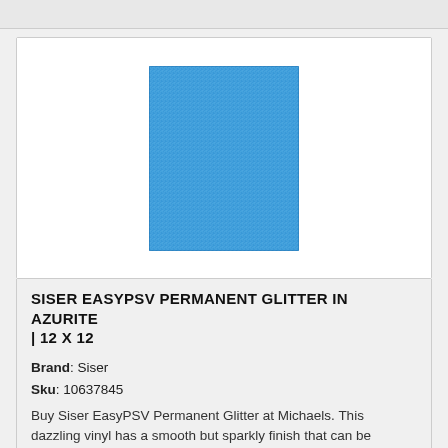[Figure (photo): Blue glitter vinyl sheet (Siser EasyPSV Permanent Glitter in Azurite, 12x12 inch) on white background]
SISER EASYPSV PERMANENT GLITTER IN AZURITE | 12 X 12
Brand: Siser
Sku: 10637845
Buy Siser EasyPSV Permanent Glitter at Michaels. This dazzling vinyl has a smooth but sparkly finish that can be applied to